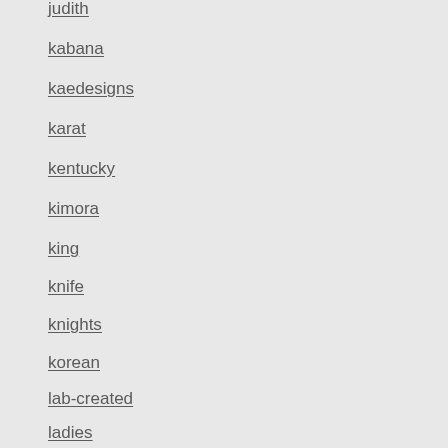judith
kabana
kaedesigns
karat
kentucky
kimora
king
knife
knights
korean
lab-created
ladies
lady's